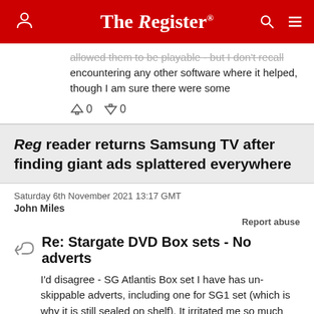The Register
allowed them to be playable - but I don't recall encountering any other software where it helped, though I am sure there were some
↑0  ↓0
Reg reader returns Samsung TV after finding giant ads splattered everywhere
Saturday 6th November 2021 13:17 GMT
John Miles
Report abuse
Re: Stargate DVD Box sets - No adverts
I'd disagree - SG Atlantis Box set I have has un-skippable adverts, including one for SG1 set (which is why it is still sealed on shelf). It irritated me so much that I never bothered finishing the series or buying any more box sets.